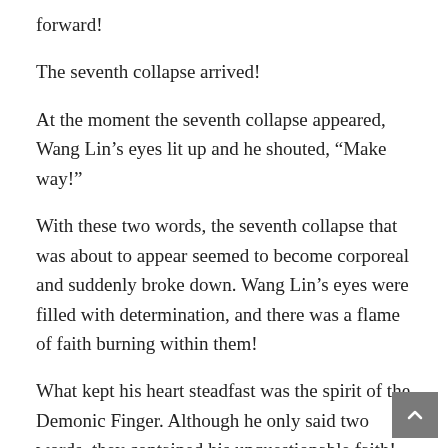forward!
The seventh collapse arrived!
At the moment the seventh collapse appeared, Wang Lin’s eyes lit up and he shouted, “Make way!”
With these two words, the seventh collapse that was about to appear seemed to become corporeal and suddenly broke down. Wang Lin’s eyes were filled with determination, and there was a flame of faith burning within them!
What kept his heart steadfast was the spirit of the Demonic Finger. Although he only said two words, they contained his unquestionable faith!
It wasn’t faith in slaughter or victory, it was the faith of… a